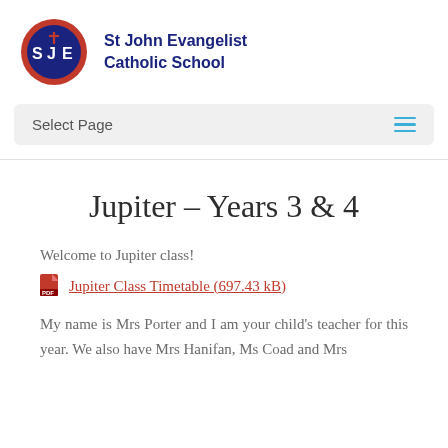[Figure (logo): St John Evangelist Catholic School circular logo with SJE initials and cross, red and navy blue colors]
St John Evangelist Catholic School
Select Page
Jupiter – Years 3 & 4
Welcome to Jupiter class!
Jupiter Class Timetable (697.43 kB)
My name is Mrs Porter and I am your child's teacher for this year. We also have Mrs Hanifan, Ms Coad and Mrs